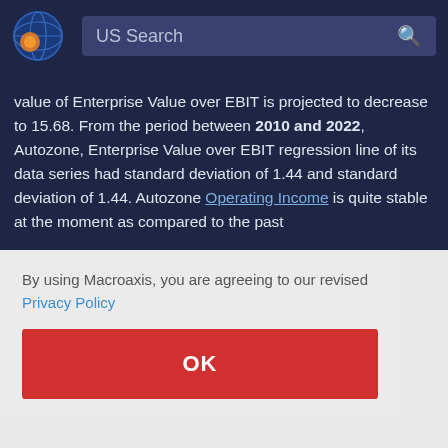[Figure (logo): Macroaxis globe logo — orange and blue circular icon]
US Search
value of Enterprise Value over EBIT is projected to decrease to 15.68. From the period between 2010 and 2022, Autozone, Enterprise Value over EBIT regression line of its data series had standard deviation of 1.44 and standard deviation of 1.44. Autozone Operating Income is quite stable at the moment as compared to the past
By using Macroaxis, you are agreeing to our revised Privacy Policy
OK